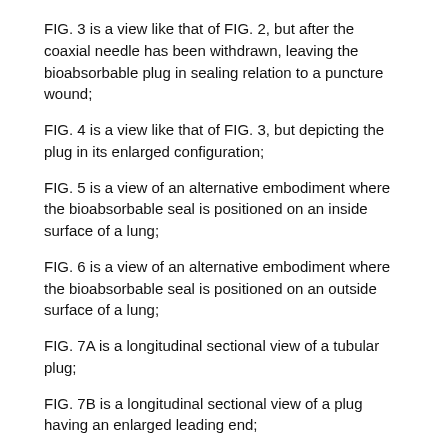FIG. 3 is a view like that of FIG. 2, but after the coaxial needle has been withdrawn, leaving the bioabsorbable plug in sealing relation to a puncture wound;
FIG. 4 is a view like that of FIG. 3, but depicting the plug in its enlarged configuration;
FIG. 5 is a view of an alternative embodiment where the bioabsorbable seal is positioned on an inside surface of a lung;
FIG. 6 is a view of an alternative embodiment where the bioabsorbable seal is positioned on an outside surface of a lung;
FIG. 7A is a longitudinal sectional view of a tubular plug;
FIG. 7B is a longitudinal sectional view of a plug having an enlarged leading end;
FIG. 7C is a longitudinal sectional view of a plug that may be used as a "scaffold"for therapeutic drugs or the like;
FIG. 7D is a longitudinal sectional view of another plug configuration having utility as a scaffold